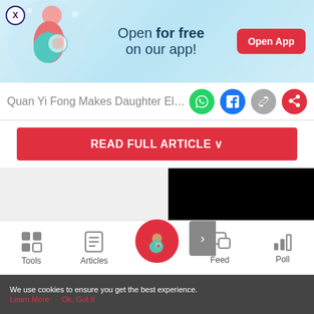[Figure (screenshot): App advertisement banner with illustration of pregnant woman, text 'Open for free on our app!' and 'Open App' red button]
Quan Yi Fong Makes Daughter Elean
READ FULL ARTICLE ∨
[Figure (screenshot): Black video/media player box with arrow navigation button on left side, and a gray left panel]
Tools  Articles  [home icon]  Feed  Poll
We use cookies to ensure you get the best experience.
Learn More    Ok, Got it